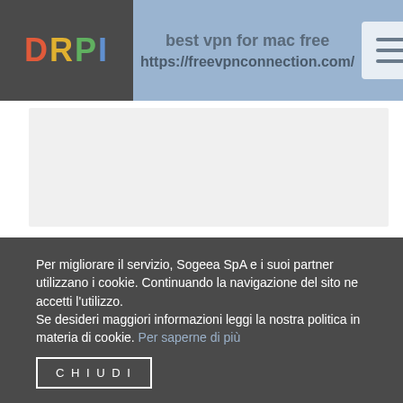best vpn for mac free
https://freevpnconnection.com/
[Figure (screenshot): Light gray content placeholder box]
[Figure (screenshot): Light gray content box with text 'free vpn for google chrome' and a Reply button partially visible on the right edge]
Per migliorare il servizio, Sogeea SpA e i suoi partner utilizzano i cookie. Continuando la navigazione del sito ne accetti l'utilizzo.
Se desideri maggiori informazioni leggi la nostra politica in materia di cookie. Per saperne di più
CHIUDI